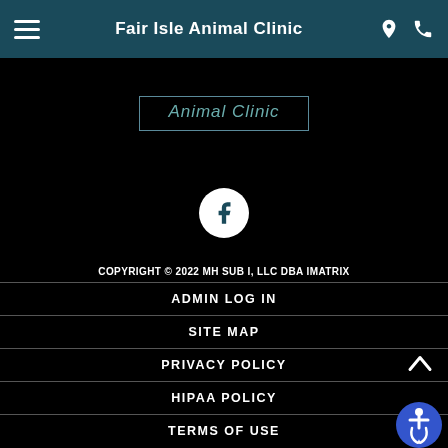Fair Isle Animal Clinic
[Figure (logo): Fair Isle Animal Clinic logo with bordered text box]
[Figure (illustration): Facebook social media icon - white circle with 'f' letter]
COPYRIGHT © 2022 MH SUB I, LLC DBA IMATRIX
ADMIN LOG IN
SITE MAP
PRIVACY POLICY
HIPAA POLICY
TERMS OF USE